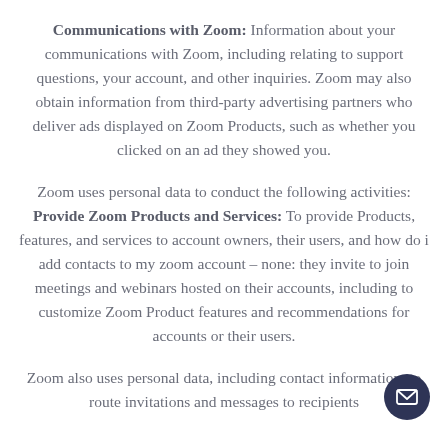Communications with Zoom: Information about your communications with Zoom, including relating to support questions, your account, and other inquiries. Zoom may also obtain information from third-party advertising partners who deliver ads displayed on Zoom Products, such as whether you clicked on an ad they showed you.
Zoom uses personal data to conduct the following activities: Provide Zoom Products and Services: To provide Products, features, and services to account owners, their users, and how do i add contacts to my zoom account – none: they invite to join meetings and webinars hosted on their accounts, including to customize Zoom Product features and recommendations for accounts or their users.
Zoom also uses personal data, including contact information, to route invitations and messages to recipients